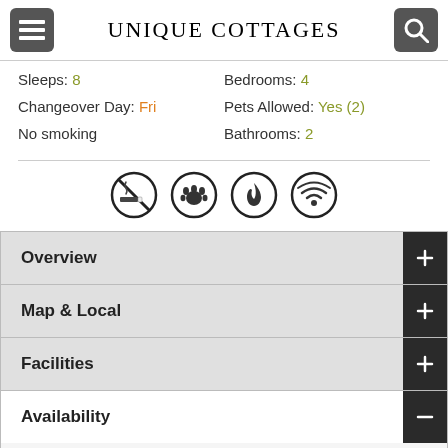UNIQUE COTTAGES
Sleeps: 8  Bedrooms: 4  Changeover Day: Fri  Pets Allowed: Yes (2)  No smoking  Bathrooms: 2
[Figure (illustration): Four circular icons: no smoking, pet-friendly (paw print), fire/heating, wifi]
Overview +
Map & Local +
Facilities +
Availability -
Availability
The calendar below shows dates which are either